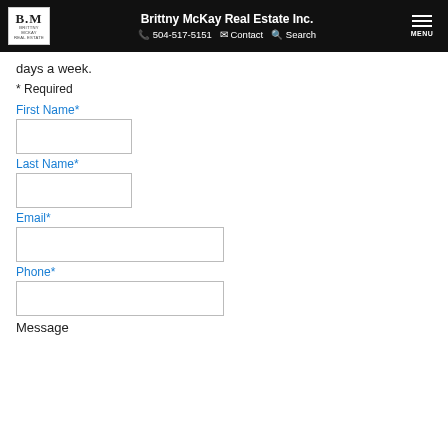Brittny McKay Real Estate Inc. | 504-517-5151 | Contact | Search | MENU
days a week.
* Required
First Name*
Last Name*
Email*
Phone*
Message